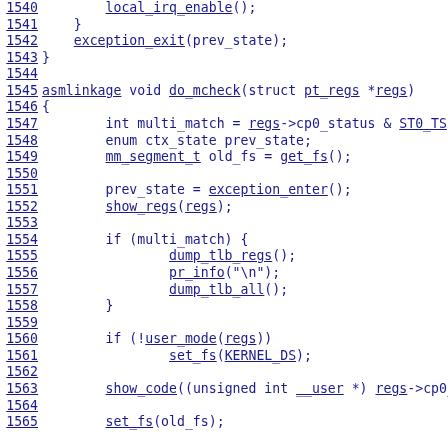[Figure (screenshot): Source code listing showing C kernel code lines 1540-1565, with line numbers underlined in blue on the left and code in blue monospace font. Contains function calls like local_irq_enable(), exception_exit(), do_mcheck(), show_regs(), dump_tlb_regs(), pr_info(), dump_tlb_all(), user_mode(), set_fs(), show_code(), with hyperlinked identifiers underlined in blue.]